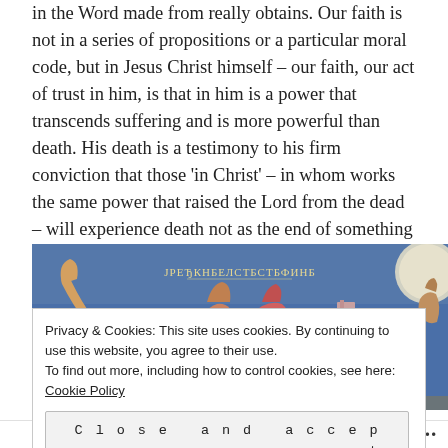in the Word made from really obtains. Our faith is not in a series of propositions or a particular moral code, but in Jesus Christ himself – our faith, our act of trust in him, is that in him is a power that transcends suffering and is more powerful than death. His death is a testimony to his firm conviction that those 'in Christ' – in whom works the same power that raised the Lord from the dead – will experience death not as the end of something but as the route of access into the very life of God himself.
[Figure (photo): A Byzantine/medieval fresco painting showing figures in a scene with blue background and Cyrillic/Greek inscription text visible in the center area. Figures appear to be in a religious narrative scene.]
Privacy & Cookies: This site uses cookies. By continuing to use this website, you agree to their use.
To find out more, including how to control cookies, see here: Cookie Policy
Close and accept
Follow •••